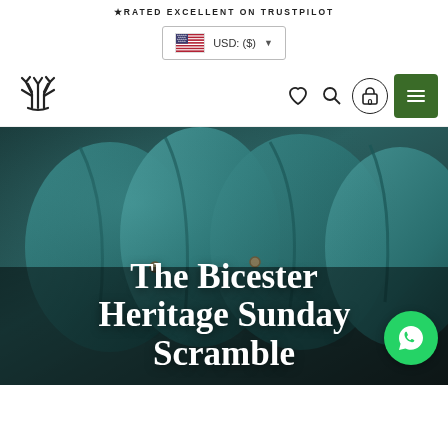★RATED EXCELLENT ON TRUSTPILOT
[Figure (screenshot): Currency selector button showing US flag and USD: ($) with dropdown arrow]
[Figure (logo): Stylized logo mark with abstract candelabra/antler design]
[Figure (screenshot): Navigation icons: heart/wishlist, search, cart (0), green hamburger menu button]
[Figure (photo): Close-up photo of teal/blue vintage leather bags or luggage stacked together]
The Bicester Heritage Sunday Scramble